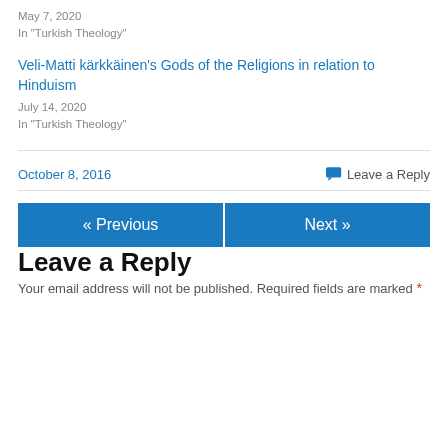May 7, 2020
In "Turkish Theology"
Veli-Matti kärkkäinen's Gods of the Religions in relation to Hinduism
July 14, 2020
In "Turkish Theology"
October 8, 2016
Leave a Reply
« Previous
Next »
Leave a Reply
Your email address will not be published. Required fields are marked *